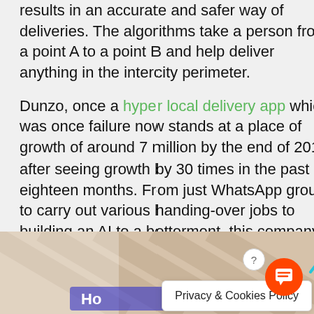results in an accurate and safer way of deliveries. The algorithms take a person from a point A to a point B and help deliver anything in the intercity perimeter.
Dunzo, once a hyper local delivery app which was once failure now stands at a place of growth of around 7 million by the end of 2019, after seeing growth by 30 times in the past eighteen months. From just WhatsApp groups to carry out various handing-over jobs to building an AI to a betterment, this company has seen definite success in the field.
Basing in Bangalore, this Google-supported Startup has started to deliver all kinds of packages and groceries and has focussed on building a trustworthy platform on the app for better interaction with its users.
[Figure (illustration): Advertisement banner with striped background, two blue human figures, partial text 'Ho', and a Privacy & Cookies Policy popup overlay. Orange chat button in bottom right.]